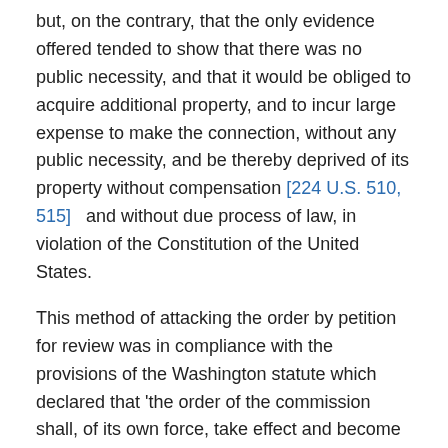but, on the contrary, that the only evidence offered tended to show that there was no public necessity, and that it would be obliged to acquire additional property, and to incur large expense to make the connection, without any public necessity, and be thereby deprived of its property without compensation [224 U.S. 510, 515]   and without due process of law, in violation of the Constitution of the United States.
This method of attacking the order by petition for review was in compliance with the provisions of the Washington statute which declared that 'the order of the commission shall, of its own force, take effect and become operative twenty days after notice thereof has been given. . . . And any railroad or express company affected by the order of the commission, and deeming it to be contrary to the law, may institute proceedings in the superior court . . . and have such order reviewed and its reasonableness and lawfulness inquired into and determined. Pending such review, if the court having